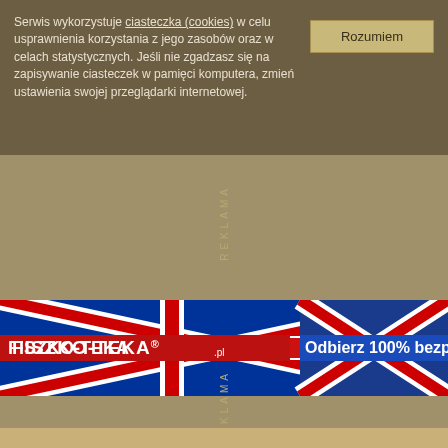Serwis wykorzystuje ciasteczka (cookies) w celu usprawnienia korzystania z jego zasobów oraz w celach statystycznych. Jeśli nie zgadzasz się na zapisywanie ciasteczek w pamięci komputera, zmień ustawienia swojej przeglądarki internetowej.
Rozumiem
REKLAMA
[Figure (other): Fiszko-Teka advertisement banner with UK flag background. Text: FISZKO-TEKA and Odbierz 100% bezpła...]
REKLAMA